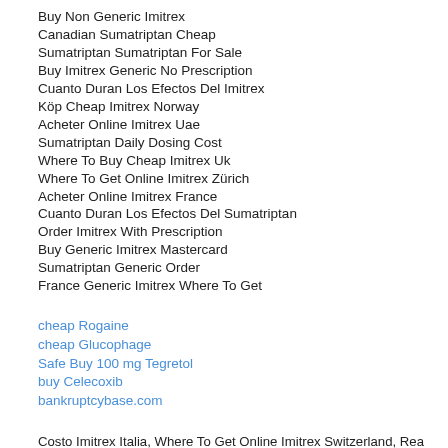Buy Non Generic Imitrex
Canadian Sumatriptan Cheap
Sumatriptan Sumatriptan For Sale
Buy Imitrex Generic No Prescription
Cuanto Duran Los Efectos Del Imitrex
Köp Cheap Imitrex Norway
Acheter Online Imitrex Uae
Sumatriptan Daily Dosing Cost
Where To Buy Cheap Imitrex Uk
Where To Get Online Imitrex Zürich
Acheter Online Imitrex France
Cuanto Duran Los Efectos Del Sumatriptan
Order Imitrex With Prescription
Buy Generic Imitrex Mastercard
Sumatriptan Generic Order
France Generic Imitrex Where To Get
cheap Rogaine
cheap Glucophage
Safe Buy 100 mg Tegretol
buy Celecoxib
bankruptcybase.com
Costo Imitrex Italia, Where To Get Online Imitrex Switzerland, Rea... Where To Buy Generic Imitrex Switzerland, Billig Online Imitrex Fi...